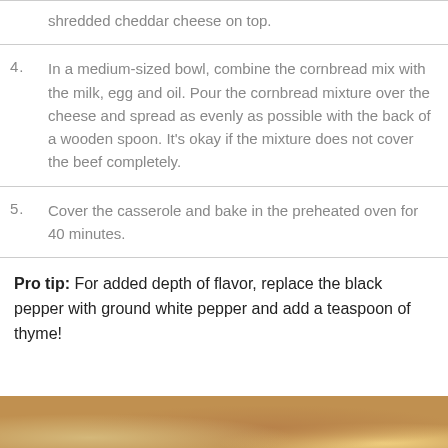shredded cheddar cheese on top.
4. In a medium-sized bowl, combine the cornbread mix with the milk, egg and oil. Pour the cornbread mixture over the cheese and spread as evenly as possible with the back of a wooden spoon. It's okay if the mixture does not cover the beef completely.
5. Cover the casserole and bake in the preheated oven for 40 minutes.
Pro tip: For added depth of flavor, replace the black pepper with ground white pepper and add a teaspoon of thyme!
[Figure (photo): Close-up photo of a wooden surface or casserole dish, warm brown tones visible at the bottom of the page.]